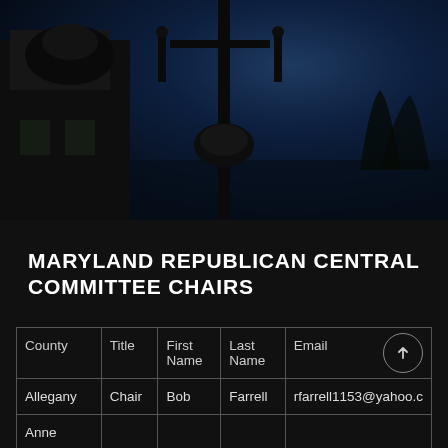[Figure (photo): Dark photograph taken from below looking up at a street lamp/surveillance camera against a deep blue-black sky, with a brick building visible to the left.]
MARYLAND REPUBLICAN CENTRAL COMMITTEE CHAIRS
| County | Title | First Name | Last Name | Email |
| --- | --- | --- | --- | --- |
| Allegany | Chair | Bob | Farrell | rfarrell1153@yahoo.c |
| Anne |  |  |  |  |